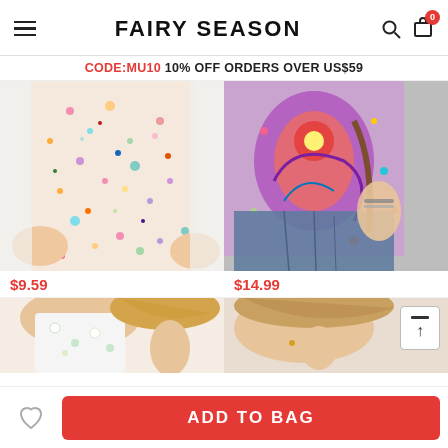FAIRY SEASON
CODE:MU10 10% OFF ORDERS OVER US$59
[Figure (photo): Colorful confetti floral print top worn by model, showing torso and hands]
$9.59
[Figure (photo): Colorful paisley/boho print top worn by model with jeans and brown crossbody bag]
$14.99
[Figure (photo): Partial view of white floral top on model]
[Figure (photo): Partial view of top on model with blonde hair]
ADD TO BAG